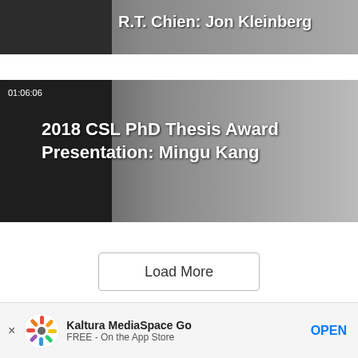[Figure (screenshot): Partial video thumbnail card showing title 'R.T. Chien: Jon Kleinberg' with dark thumbnail on left and gray gradient background]
[Figure (screenshot): Video card with dark thumbnail on left, duration '01:06:06', title '2018 CSL PhD Thesis Award Presentation: Mingu Kang', gray gradient background]
Load More
[Figure (logo): University of Illinois logo with block I in orange and ILLINOIS in dark navy bold text]
Contact Technology Services to report an issue, offer feedback,
[Figure (infographic): Kaltura MediaSpace Go app banner with colorful pinwheel logo, app name, FREE - On the App Store, and OPEN button]